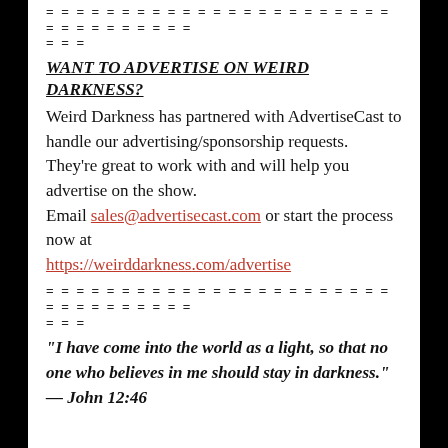= = = = = = = = = = = = = = = = = = = = = = = = = = = = = = = = =
= = =
WANT TO ADVERTISE ON WEIRD DARKNESS?
Weird Darkness has partnered with AdvertiseCast to handle our advertising/sponsorship requests. They're great to work with and will help you advertise on the show.
Email sales@advertisecast.com or start the process now at
https://weirddarkness.com/advertise
= = = = = = = = = = = = = = = = = = = = = = = = = = = = = = = = =
= = =
“I have come into the world as a light, so that no one who believes in me should stay in darkness.” — John 12:46